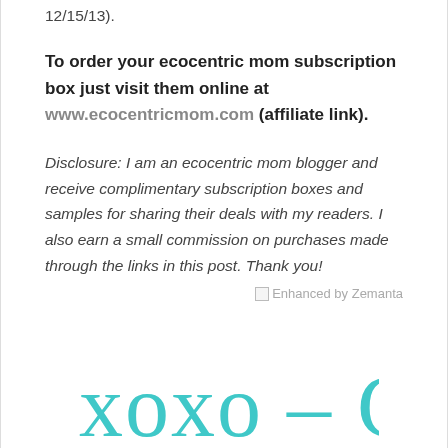12/15/13).
To order your ecocentric mom subscription box just visit them online at www.ecocentricmom.com (affiliate link).
Disclosure: I am an ecocentric mom blogger and receive complimentary subscription boxes and samples for sharing their deals with my readers.  I also earn a small commission on purchases made through the links in this post.  Thank you!
[Figure (illustration): Broken image placeholder with alt text 'Enhanced by Zemanta']
[Figure (illustration): Handwritten teal cursive signature reading 'xoxo - Calley' at bottom of page]